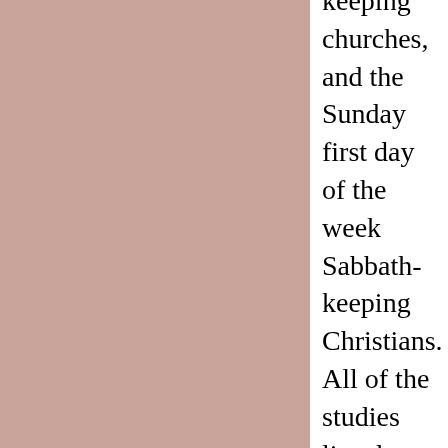keeping churches, and the Sunday first day of the week Sabbath-keeping Christians. All of the studies listed under the subject